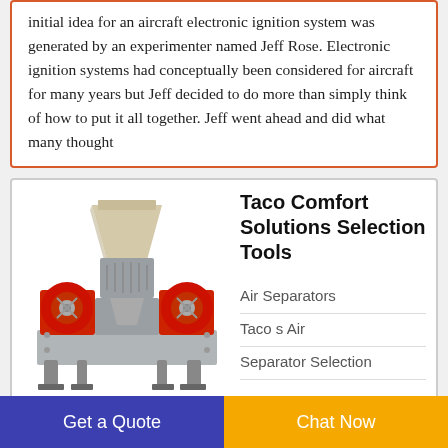initial idea for an aircraft electronic ignition system was generated by an experimenter named Jeff Rose. Electronic ignition systems had conceptually been considered for aircraft for many years but Jeff decided to do more than simply think of how to put it all together. Jeff went ahead and did what many thought
[Figure (photo): Industrial red and grey dual-shaft shredder/granulator machine with hopper on top]
Taco Comfort Solutions Selection Tools
Air Separators
Taco s Air
Separator Selection
Get a Quote
Chat Now